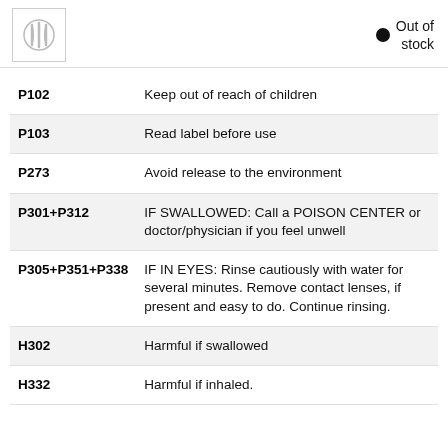Out of stock
| Code | Description |
| --- | --- |
| P102 | Keep out of reach of children |
| P103 | Read label before use |
| P273 | Avoid release to the environment |
| P301+P312 | IF SWALLOWED: Call a POISON CENTER or doctor/physician if you feel unwell |
| P305+P351+P338 | IF IN EYES: Rinse cautiously with water for several minutes. Remove contact lenses, if present and easy to do. Continue rinsing. |
| H302 | Harmful if swallowed |
| H332 | Harmful if inhaled. |